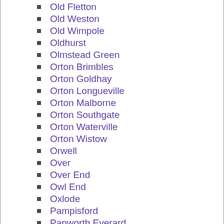Old Fletton
Old Weston
Old Wimpole
Oldhurst
Olmstead Green
Orton Brimbles
Orton Goldhay
Orton Longueville
Orton Malborne
Orton Southgate
Orton Waterville
Orton Wistow
Orwell
Over
Over End
Owl End
Oxlode
Pampisford
Papworth Everard